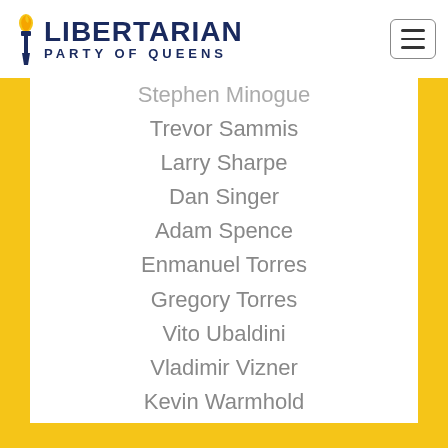Libertarian Party of Queens
Stephen Minogue
Trevor Sammis
Larry Sharpe
Dan Singer
Adam Spence
Enmanuel Torres
Gregory Torres
Vito Ubaldini
Vladimir Vizner
Kevin Warmhold